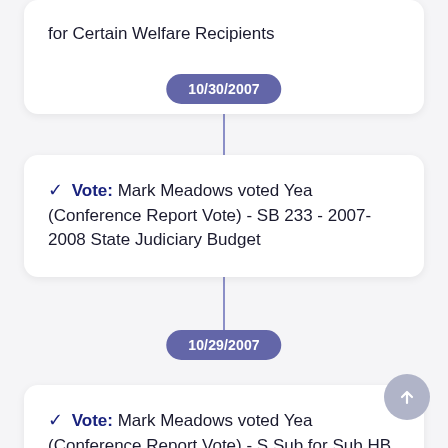for Certain Welfare Recipients
10/30/2007
Vote: Mark Meadows voted Yea (Conference Report Vote) - SB 233 - 2007-2008 State Judiciary Budget
10/29/2007
Vote: Mark Meadows voted Yea (Conference Report Vote) - S Sub for Sub HB 4344 - 2007-2008 Department of Community